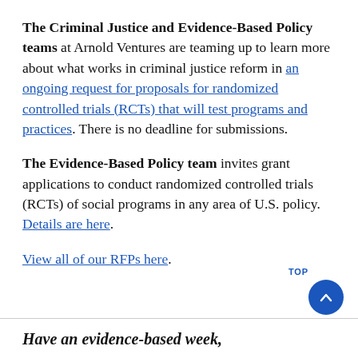The Criminal Justice and Evidence-Based Policy teams at Arnold Ventures are teaming up to learn more about what works in criminal justice reform in an ongoing request for proposals for randomized controlled trials (RCTs) that will test programs and practices. There is no deadline for submissions.
The Evidence-Based Policy team invites grant applications to conduct randomized controlled trials (RCTs) of social programs in any area of U.S. policy. Details are here.
View all of our RFPs here.
Have an evidence-based week,